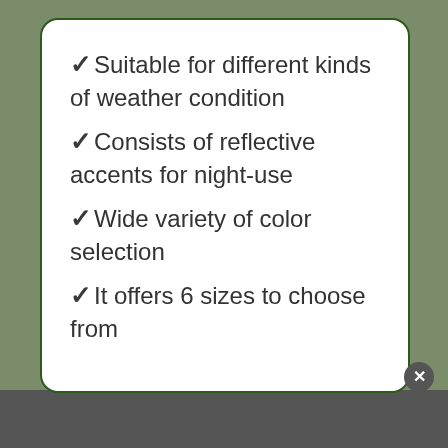Suitable for different kinds of weather condition
Consists of reflective accents for night-use
Wide variety of color selection
It offers 6 sizes to choose from